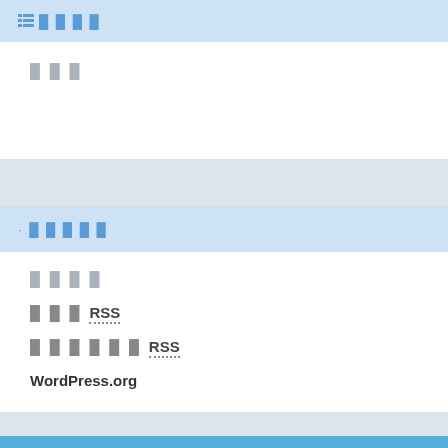≡ ████
███
· █████
████
███ RSS
██████ RSS
WordPress.org